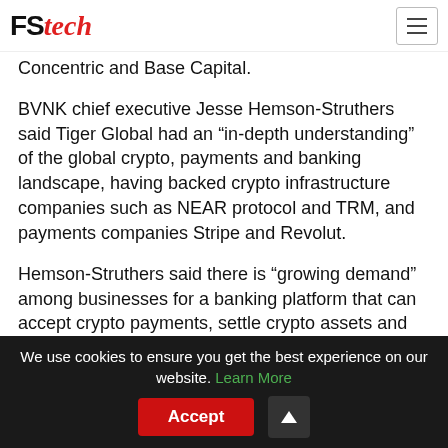FSTech
Concentric and Base Capital.
BVNK chief executive Jesse Hemson-Struthers said Tiger Global had an “in-depth understanding” of the global crypto, payments and banking landscape, having backed crypto infrastructure companies such as NEAR protocol and TRM, and payments companies Stripe and Revolut.
Hemson-Struthers said there is “growing demand” among businesses for a banking platform that can accept crypto payments, settle crypto assets and “seamlessly” bridge between fiat and crypto.
We use cookies to ensure you get the best experience on our website. Learn More Accept